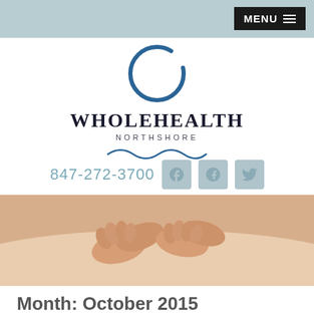MENU
[Figure (logo): WholeHealth Northshore logo with circular brushstroke graphic, large serif text 'WHOLEHEALTH', smaller sans-serif 'NORTHSHORE', and decorative wave design]
847-272-3700
[Figure (photo): Close-up photo of hands performing a massage on a person's back]
Month: October 2015
Posted on October 29, 2015